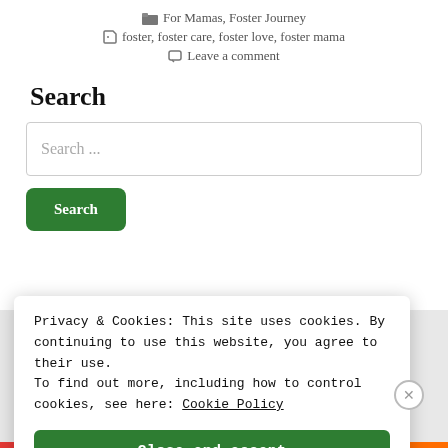For Mamas, Foster Journey
foster, foster care, foster love, foster mama
Leave a comment
Search
Search ...
Search
Privacy & Cookies: This site uses cookies. By continuing to use this website, you agree to their use.
To find out more, including how to control cookies, see here: Cookie Policy
Close and accept